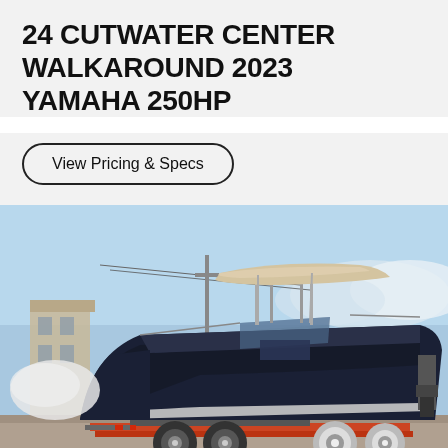24 CUTWATER CENTER WALKAROUND 2023 YAMAHA 250HP
View Pricing & Specs
[Figure (photo): A dark navy blue Cutwater 24 center walkaround boat on a double-axle trailer, parked on gravel. The boat has a T-top with a beige/tan bimini shade, windshield, and sleek hull. Background shows a blue sky, mountains, and a building on the left.]